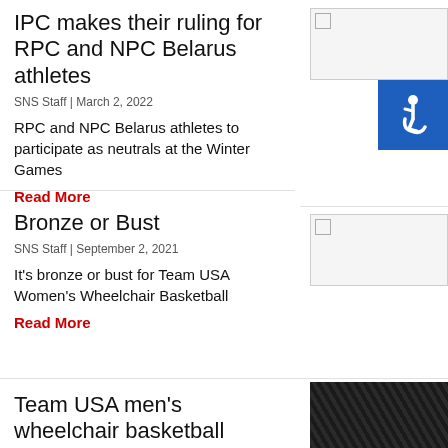IPC makes their ruling for RPC and NPC Belarus athletes
SNS Staff | March 2, 2022
RPC and NPC Belarus athletes to participate as neutrals at the Winter Games
Read More
[Figure (photo): Broken/placeholder image thumbnail - top right of first article]
[Figure (illustration): Blue accessibility icon button (wheelchair symbol)]
Bronze or Bust
SNS Staff | September 2, 2021
It's bronze or bust for Team USA Women's Wheelchair Basketball
Read More
[Figure (photo): Broken/placeholder image thumbnail - right of Bronze or Bust article]
Team USA men's wheelchair basketball advances to semifinals